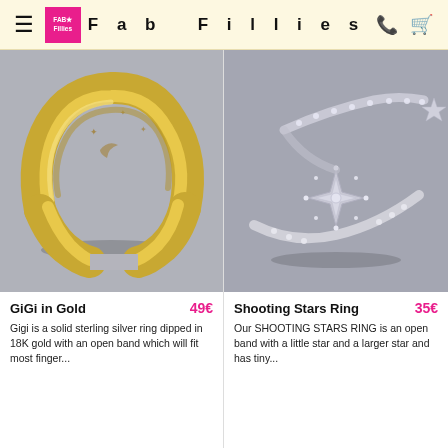Fab Fillies
[Figure (photo): Gold signet-style open band ring (GiGi in Gold) on a grey background]
[Figure (photo): Silver shooting stars open band ring with star and crystal accents on a grey background]
GiGi in Gold   49€
Gigi is a solid sterling silver ring dipped in 18K gold with an open band which will fit most finger...
Shooting Stars Ring   35€
Our SHOOTING STARS RING is an open band with a little star and a larger star and has tiny...